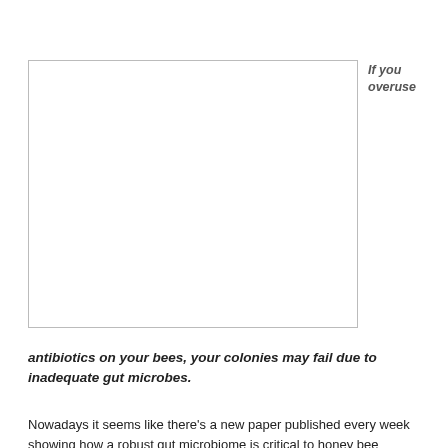[Figure (photo): Large blank/white image placeholder with light gray border, positioned on the left side of the page.]
If you overuse
antibiotics on your bees, your colonies may fail due to inadequate gut microbes.
Nowadays it seems like there's a new paper published every week showing how a robust gut microbiome is critical to honey bee